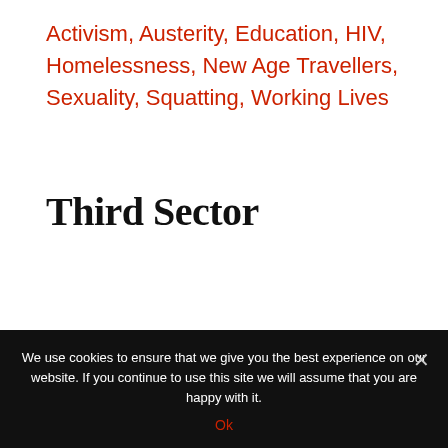Activism, Austerity, Education, HIV, Homelessness, New Age Travellers, Sexuality, Squatting, Working Lives
Third Sector
When I was coming out in the 80's, it was at the same time as a lot of
We use cookies to ensure that we give you the best experience on our website. If you continue to use this site we will assume that you are happy with it.
Ok